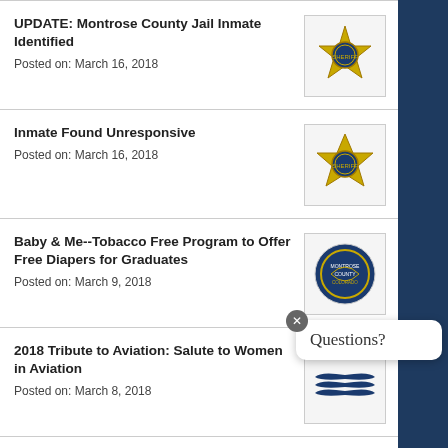UPDATE: Montrose County Jail Inmate Identified
Posted on: March 16, 2018
Inmate Found Unresponsive
Posted on: March 16, 2018
Baby & Me--Tobacco Free Program to Offer Free Diapers for Graduates
Posted on: March 9, 2018
2018 Tribute to Aviation: Salute to Women in Aviation
Posted on: March 8, 2018
Montrose County Event Center Naming Rights Released as ITB
Posted on: March 2, 2018